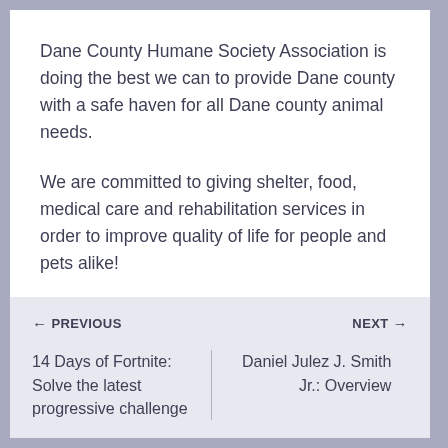Dane County Humane Society Association is doing the best we can to provide Dane county with a safe haven for all Dane county animal needs.
We are committed to giving shelter, food, medical care and rehabilitation services in order to improve quality of life for people and pets alike!
← PREVIOUS | 14 Days of Fortnite: Solve the latest progressive challenge || NEXT → | Daniel Julez J. Smith Jr.: Overview